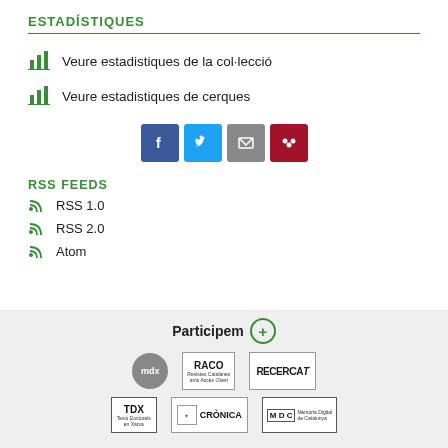ESTADÍSTIQUES
Veure estadistiques de la col·lecció
Veure estadistiques de cerques
[Figure (infographic): Social media share buttons: Facebook (blue), Twitter (light blue), Email (grey), Mendeley (dark red)]
RSS FEEDS
RSS 1.0
RSS 2.0
Atom
Participem
[Figure (logo): Partner logos: MDX (Materials Docents en Xarxa), RACO (Revistes Catalanes amb Accés Obert), RECERCAT, TDX (Tesis Doctorals en Xarxa), CRÒNICA, MDC (Memòria Digital de Catalunya)]